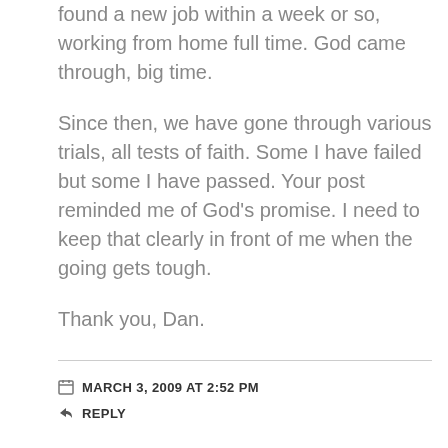found a new job within a week or so, working from home full time. God came through, big time.
Since then, we have gone through various trials, all tests of faith. Some I have failed but some I have passed. Your post reminded me of God’s promise. I need to keep that clearly in front of me when the going gets tough.
Thank you, Dan.
MARCH 3, 2009 AT 2:52 PM
REPLY